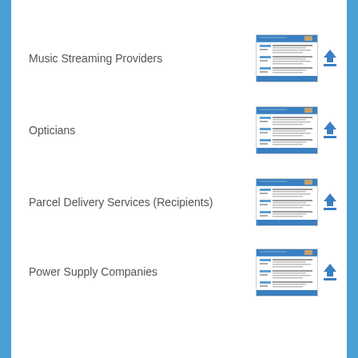Music Streaming Providers
Opticians
Parcel Delivery Services (Recipients)
Power Supply Companies
Public and Private Health Insurance Companies
Social Networks
Supermarkets and Grocery Stores